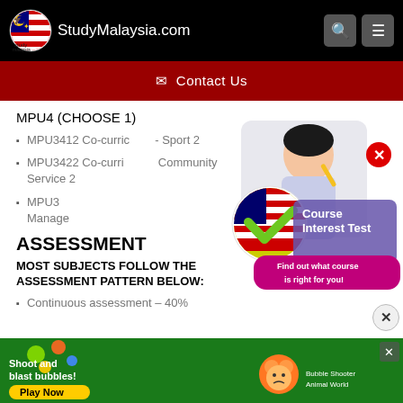StudyMalaysia.com
✉ Contact Us
MPU4 (CHOOSE 1)
MPU3412 Co-curriculum - Sport 2
MPU3422 Co-curriculum - Community Service 2
MPU3432 ... Management ...
ASSESSMENT
MOST SUBJECTS FOLLOW THE ASSESSMENT PATTERN BELOW:
Continuous assessment – 40%
[Figure (illustration): Course Interest Test overlay ad with a student holding a pencil, Malaysian flag checkmark logo, text: Course Interest Test - Find out what course is right for you!, with a red X close button]
[Figure (illustration): Bottom banner ad: Shoot and blast bubbles! Play Now - Bubble Shooter Animal World mobile game advertisement on green background]